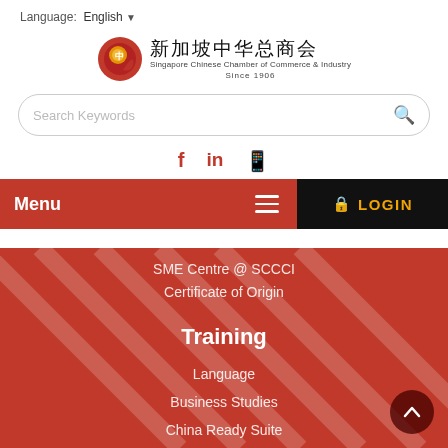Language: English
[Figure (logo): Singapore Chinese Chamber of Commerce & Industry logo with Chinese characters 新加坡中华总商会, since 1906]
Search Keywords
[Figure (infographic): Social media icons: Facebook (f), LinkedIn (in), WeChat]
Menu  LOGIN
SME Centre @ SCCCI
Certificate of Origin
Training
Language
Business Studies
China Ready Suite
SkillsFuture (WSQ)